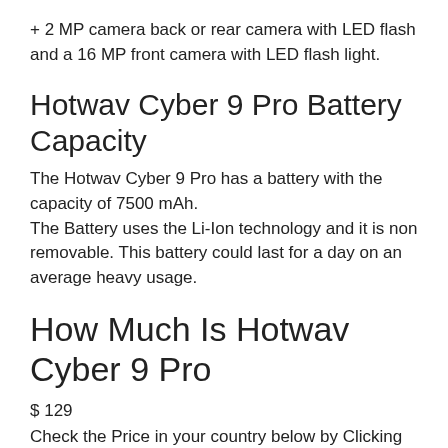+ 2 MP camera back or rear camera with LED flash and a 16 MP front camera with LED flash light.
Hotwav Cyber 9 Pro Battery Capacity
The Hotwav Cyber 9 Pro has a battery with the capacity of 7500 mAh.
The Battery uses the Li-Ion technology and it is non removable. This battery could last for a day on an average heavy usage.
How Much Is Hotwav Cyber 9 Pro
$ 129
Check the Price in your country below by Clicking on Checkout Lowest Price to get the best deal and buy